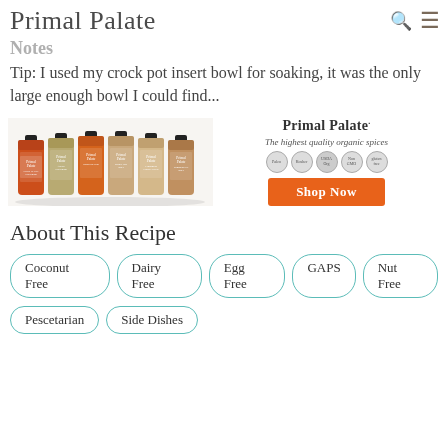Primal Palate
Notes
Tip: I used my crock pot insert bowl for soaking, it was the only large enough bowl I could find...
[Figure (photo): Advertisement showing six Primal Palate organic spice bottles with 'Primal Palate - The highest quality organic spices' text, certification badges, and an orange 'Shop Now' button]
About This Recipe
Coconut Free
Dairy Free
Egg Free
GAPS
Nut Free
Pescetarian
Side Dishes